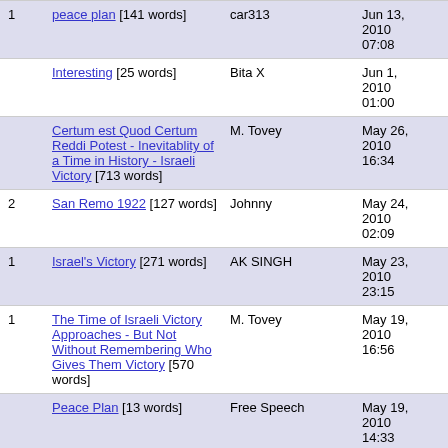| # | Title | Author | Date |
| --- | --- | --- | --- |
| 1 | peace plan [141 words] | car313 | Jun 13, 2010 07:08 |
|  | Interesting [25 words] | Bita X | Jun 1, 2010 01:00 |
|  | Certum est Quod Certum Reddi Potest - Inevitablity of a Time in History - Israeli Victory [713 words] | M. Tovey | May 26, 2010 16:34 |
| 2 | San Remo 1922 [127 words] | Johnny | May 24, 2010 02:09 |
| 1 | Israel's Victory [271 words] | AK SINGH | May 23, 2010 23:15 |
| 1 | The Time of Israeli Victory Approaches - But Not Without Remembering Who Gives Them Victory [570 words] | M. Tovey | May 19, 2010 16:56 |
|  | Peace Plan [13 words] | Free Speech | May 19, 2010 14:33 |
|  | Clarification [22 words] w/response from Daniel Pipes | troir | May 18, 2010 11:06 |